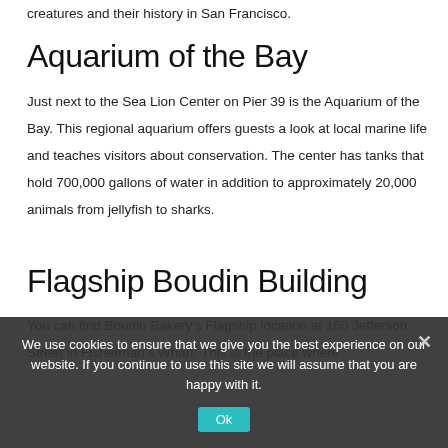creatures and their history in San Francisco.
Aquarium of the Bay
Just next to the Sea Lion Center on Pier 39 is the Aquarium of the Bay. This regional aquarium offers guests a look at local marine life and teaches visitors about conservation. The center has tanks that hold 700,000 gallons of water in addition to approximately 20,000 animals from jellyfish to sharks.
Flagship Boudin Building
You can find Boudin Bakery’s Flagship location at 160 Jefferson Street in Fisherman’s Wharf. This is the place where
We use cookies to ensure that we give you the best experience on our website. If you continue to use this site we will assume that you are happy with it.